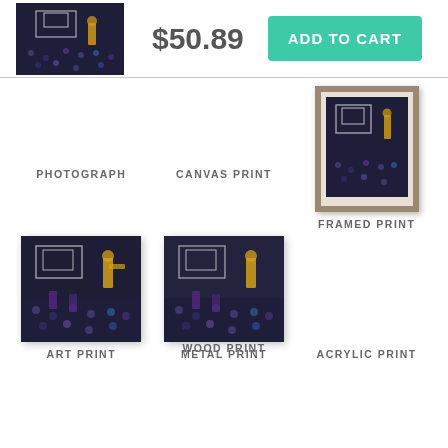[Figure (screenshot): Product thumbnail of basketball photo on e-commerce page]
$50.89
ADD TO CART
[Figure (photo): Basketball game photo - Photograph option (empty/not shown)]
PHOTOGRAPH
[Figure (photo): Basketball game photo - Canvas Print option (empty/not shown)]
CANVAS PRINT
[Figure (photo): Basketball game photo in frame - Framed Print option]
FRAMED PRINT
[Figure (photo): Basketball game photo - Art Print option]
ART PRINT
[Figure (photo): Basketball game photo - Metal Print option]
METAL PRINT
ACRYLIC PRINT
WOOD PRINT